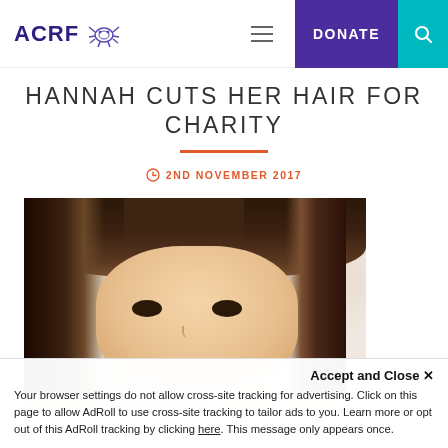ACRF — navigation bar with logo, hamburger menu, DONATE button, search icon
HANNAH CUTS HER HAIR FOR CHARITY
2ND NOVEMBER 2017
[Figure (photo): Close-up portrait of a young girl with long dark brown hair, looking at the camera]
Accept and Close ✕
Your browser settings do not allow cross-site tracking for advertising. Click on this page to allow AdRoll to use cross-site tracking to tailor ads to you. Learn more or opt out of this AdRoll tracking by clicking here. This message only appears once.